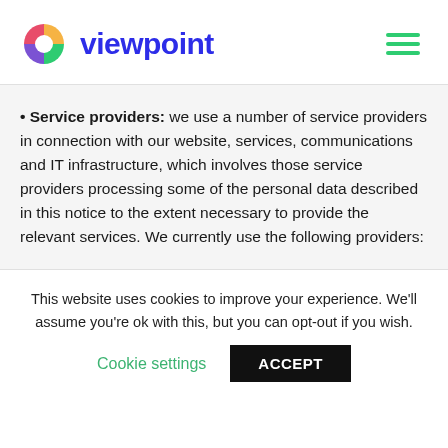[Figure (logo): Viewpoint logo with colorful circular icon and dark blue 'viewpoint' wordmark]
Service providers: we use a number of service providers in connection with our website, services, communications and IT infrastructure, which involves those service providers processing some of the personal data described in this notice to the extent necessary to provide the relevant services. We currently use the following providers:
This website uses cookies to improve your experience. We'll assume you're ok with this, but you can opt-out if you wish.
Cookie settings | ACCEPT